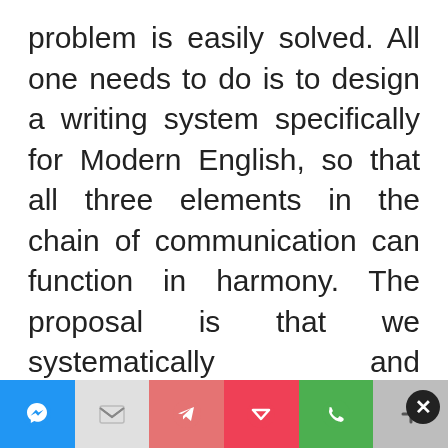problem is easily solved. All one needs to do is to design a writing system specifically for Modern English, so that all three elements in the chain of communication can function in harmony. The proposal is that we systematically and definitively wipe out all the anomalous spellings in English so that
Oh Hi there!
It's nice to meet you.

Sign up to receive awesome content in your inbox, every week.
[Figure (infographic): Social sharing bar at the bottom with icons: Messenger (blue), Gmail (grey), Telegram (red), Pocket (red), WhatsApp (green), More/Plus (grey)]